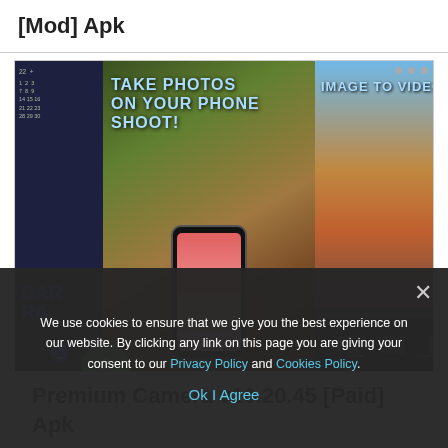[Mod] Apk
[Figure (screenshot): App screenshots showing: Calendar Camera app panel, TAKE PHOTOS ON YOUR PHONE SHOOT! panel with phone camera view, IMAGE TO VIDEO panel with autumn scene, LIVE VIDEO panel with pink swirl effect]
Premium Camera v10.20.45 [Paid] Apk
We use cookies to ensure that we give you the best experience on our website. By clicking any link on this page you are giving your consent to our Privacy Policy and Cookies Policy.
Ok I Agree